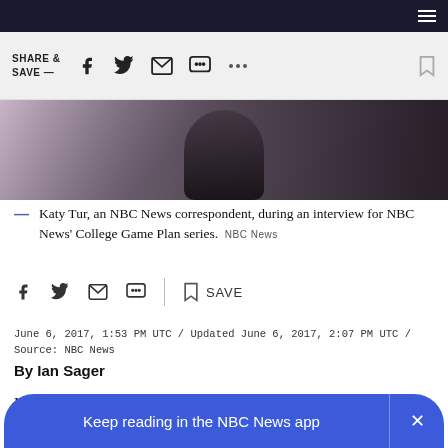SHARE & SAVE —
[Figure (photo): Katy Tur, NBC News correspondent, photographed during interview, wearing black outfit]
Katy Tur, an NBC News correspondent, during an interview for NBC News' College Game Plan series.   NBC News
June 6, 2017, 1:53 PM UTC / Updated June 6, 2017, 2:07 PM UTC / Source: NBC News
By Ian Sager
Katy Tur's advice for undergrads studying philosophy? Don't
Keep reading in the NBC News app